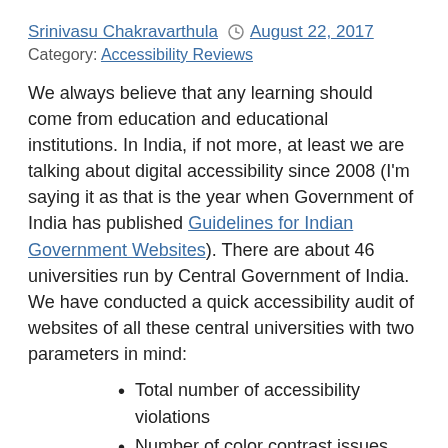Srinivasu Chakravarthula  August 22, 2017
Category: Accessibility Reviews
We always believe that any learning should come from education and educational institutions. In India, if not more, at least we are talking about digital accessibility since 2008 (I'm saying it as that is the year when Government of India has published Guidelines for Indian Government Websites). There are about 46 universities run by Central Government of India. We have conducted a quick accessibility audit of websites of all these central universities with two parameters in mind:
Total number of accessibility violations
Number of color contrast issues
We have not conducted a full audit of each home page; but have done a quick audit using automated testing